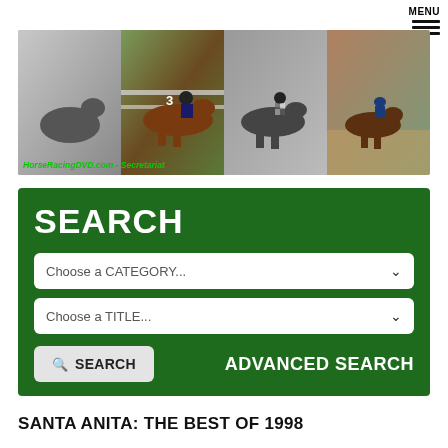MENU
[Figure (photo): Banner image showing four panels of horse racing photos with 'HorseRacingDVD.com - Secretariat' label at the bottom left]
SEARCH
Choose a CATEGORY...
Choose a TITLE...
SEARCH
ADVANCED SEARCH
SANTA ANITA: THE BEST OF 1998